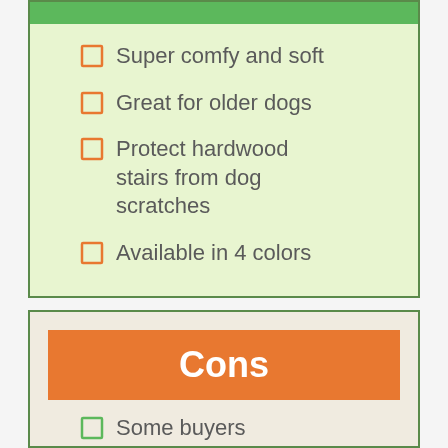Super comfy and soft
Great for older dogs
Protect hardwood stairs from dog scratches
Available in 4 colors
Cons
Some buyers